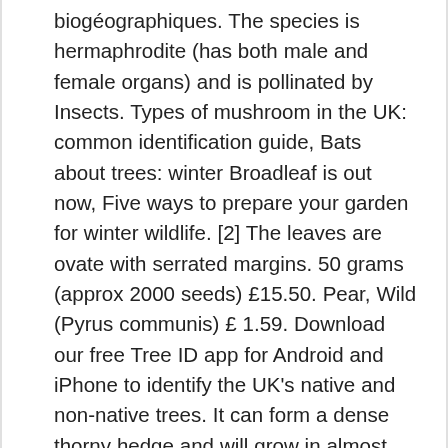biogéographiques. The species is hermaphrodite (has both male and female organs) and is pollinated by Insects. Types of mushroom in the UK: common identification guide, Bats about trees: winter Broadleaf is out now, Five ways to prepare your garden for winter wildlife. [2] The leaves are ovate with serrated margins. 50 grams (approx 2000 seeds) £15.50. Pear, Wild (Pyrus communis) £ 1.59. Download our free Tree ID app for Android and iPhone to identify the UK's native and non-native trees. It can form a dense thorny hedge and will grow in almost any position. Autumn leaf identification quiz: can you identify these 10 trees? However, owing to its weak competitive ability, the species exists mostly on extreme or marginal sites. Pear trees are native to southern, central and western Europe and grow best in light, deep soils in a